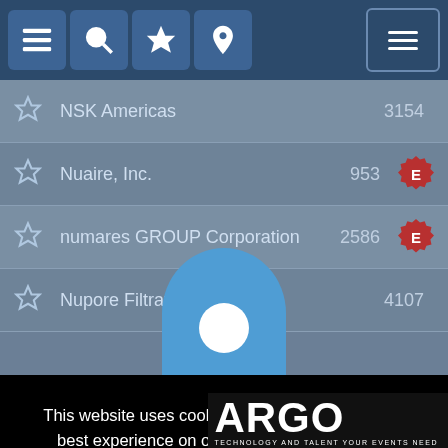[Figure (screenshot): Mobile app navigation bar with list, search, star, and location icons on the left, and a hamburger menu on the right, dark blue background]
NSK Americas   3154
Nuaire, Inc.   953
numares GROUP Corporation   2586
Nupore Filtration   4107
This website uses cookies to provide you with the best experience on our website. If you wish to disable cookies, please do so in your browser settings. Your continued use of our site without disabling your cookies is subject to the cookie policy. Learn More
I agree
[Figure (logo): ARGO logo with tagline TECHNOLOGY AND TALENT YOUR EVENTS NEED]